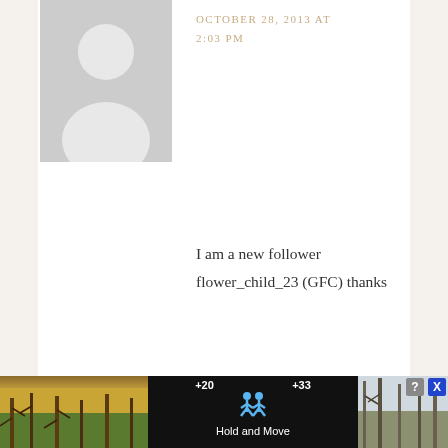[Figure (illustration): Gray default avatar silhouette placeholder image for a blog comment, showing a generic person outline in gray on a lighter gray background]
OCTOBER 28, 2013 AT 2:03 PM
I am a new follower flower_child_23 (GFC) thanks
Reply
[Figure (illustration): Gray default avatar silhouette placeholder image for a blog comment, showing a generic person outline in gray on a lighter gray background]
MS_SUNSHYNE says
OCTOBER 28, 2013 AT 2:14 PM
[Figure (screenshot): Advertisement banner at bottom of page showing a mobile game called Hold and Move with score indicators +20 and +33, with trees visible in background and a question/close button overlay]